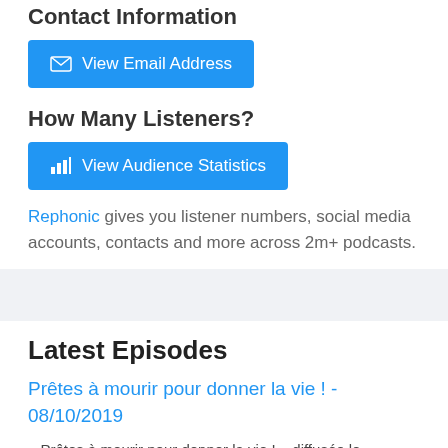Contact Information
View Email Address
How Many Listeners?
View Audience Statistics
Rephonic gives you listener numbers, social media accounts, contacts and more across 2m+ podcasts.
Latest Episodes
Prêtes à mourir pour donner la vie ! - 08/10/2019
« Prêtes à mourir pour donner la vie ! »  diffusée le 08/10/2019 à